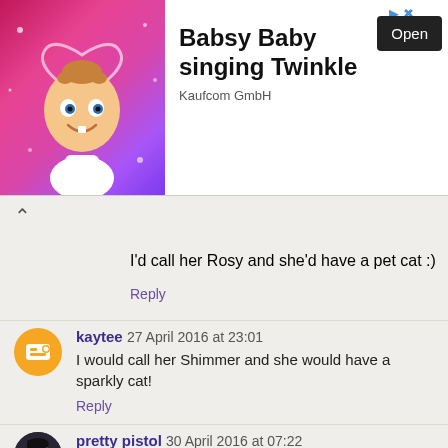[Figure (photo): Advertisement banner for 'Babsy Baby singing Twinkle' app by Kaufcom GmbH with cartoon baby illustration and Open button]
I'd call her Rosy and she'd have a pet cat :)
Reply
kaytee 27 April 2016 at 23:01
I would call her Shimmer and she would have a sparkly cat!
Reply
pretty pistol 30 April 2016 at 07:22
mindy, and she would have a meerkat
Reply
Unknown 30 April 2016 at 13:20